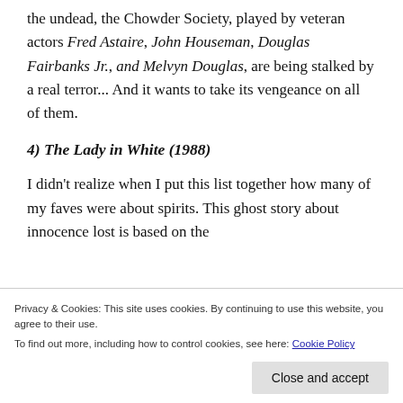the undead, the Chowder Society, played by veteran actors Fred Astaire, John Houseman, Douglas Fairbanks Jr., and Melvyn Douglas, are being stalked by a real terror... And it wants to take its vengeance on all of them.
4) The Lady in White (1988)
I didn't realize when I put this list together how many of my faves were about spirits. This ghost story about innocence lost is based on the
Privacy & Cookies: This site uses cookies. By continuing to use this website, you agree to their use.
To find out more, including how to control cookies, see here: Cookie Policy